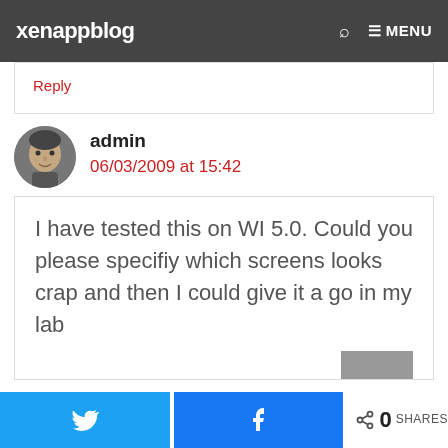xenappblog  MENU
Reply
admin
06/03/2009 at 15:42
I have tested this on WI 5.0. Could you please specifiy which screens looks crap and then I could give it a go in my lab